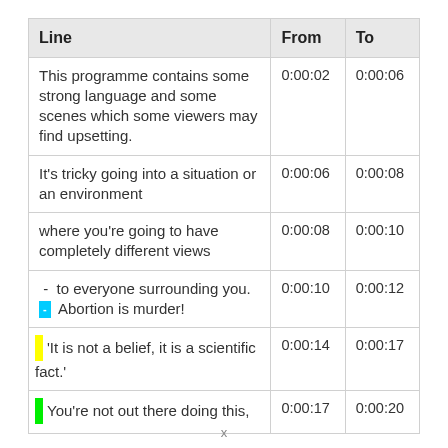| Line | From | To |
| --- | --- | --- |
| This programme contains some strong language and some scenes which some viewers may find upsetting. | 0:00:02 | 0:00:06 |
| It's tricky going into a situation or an environment | 0:00:06 | 0:00:08 |
| where you're going to have completely different views | 0:00:08 | 0:00:10 |
| -  to everyone surrounding you.
[cyan badge -] Abortion is murder! | 0:00:10 | 0:00:12 |
| [yellow bar] 'It is not a belief, it is a scientific fact.' | 0:00:14 | 0:00:17 |
| [green bar] You're not out there doing this, | 0:00:17 | 0:00:20 |
x